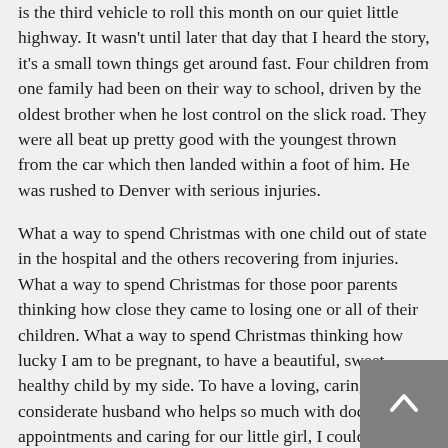is the third vehicle to roll this month on our quiet little highway. It wasn't until later that day that I heard the story, it's a small town things get around fast. Four children from one family had been on their way to school, driven by the oldest brother when he lost control on the slick road. They were all beat up pretty good with the youngest thrown from the car which then landed within a foot of him. He was rushed to Denver with serious injuries.
What a way to spend Christmas with one child out of state in the hospital and the others recovering from injuries. What a way to spend Christmas for those poor parents thinking how close they came to losing one or all of their children. What a way to spend Christmas thinking how lucky I am to be pregnant, to have a beautiful, sweet, healthy child by my side. To have a loving, caring, considerate husband who helps so much with doctors appointments and caring for our little girl, I couldn't do it with out him.
I am blessed, sometimes it takes seeing a real problem to